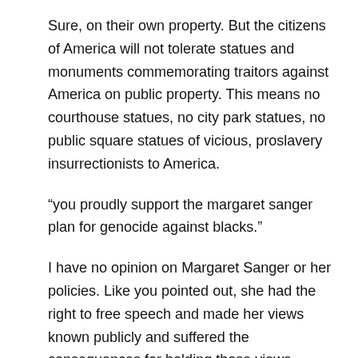Sure, on their own property. But the citizens of America will not tolerate statues and monuments commemorating traitors against America on public property. This means no courthouse statues, no city park statues, no public square statues of vicious, proslavery insurrectionists to America.
“you proudly support the margaret sanger plan for genocide against blacks.”
I have no opinion on Margaret Sanger or her policies. Like you pointed out, she had the right to free speech and made her views known publicly and suffered the consequences for holding those views.